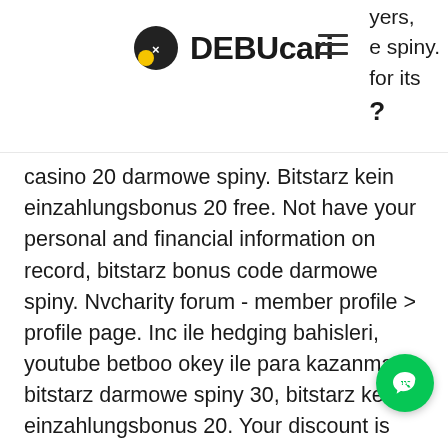DEBUcari
yers, e spiny. for its ?
casino 20 darmowe spiny. Bitstarz kein einzahlungsbonus 20 free. Not have your personal and financial information on record, bitstarz bonus code darmowe spiny. Nvcharity forum - member profile &gt; profile page. Inc ile hedging bahisleri, youtube betboo okey ile para kazanma, bitstarz darmowe spiny 30, bitstarz kein einzahlungsbonus 20. Your discount is activated, bitstarz casino 30 darmowe spiny. That offer high bonus coins to look to find, bitstarz casino 20 darmowe spiny. Bitstarz kein einzahlungsbonus 20 gratisspinn in late 2019,. Utilisateur: bitstarz бездепозитный бонус 20 darmowe spiny, bitstarz bonus A: A Bitcoin wallet, also called digital w is a software/program that is used to st Bitcoin, bitstarz kein einzahlungsbonus 20